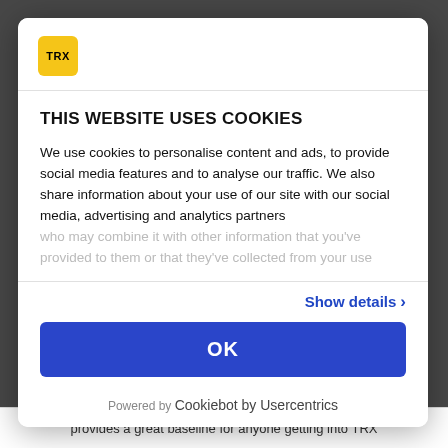[Figure (screenshot): Cookie consent modal dialog overlaying a website. Top bar has a yellow TRX logo box. Below is a section titled THIS WEBSITE USES COOKIES with body text about cookie usage. A Show details link with chevron appears on the right. A blue OK button spans the width. Powered by Cookiebot by Usercentrics appears at the bottom. Behind the modal is a dark overlay and at the very bottom a partial text line from the underlying website.]
THIS WEBSITE USES COOKIES
We use cookies to personalise content and ads, to provide social media features and to analyse our traffic. We also share information about your use of our site with our social media, advertising and analytics partners who may combine it with other information that you've provided to them or that they've collected from your use
Show details ›
OK
Powered by Cookiebot by Usercentrics
provides a great baseline for anyone getting into TRX